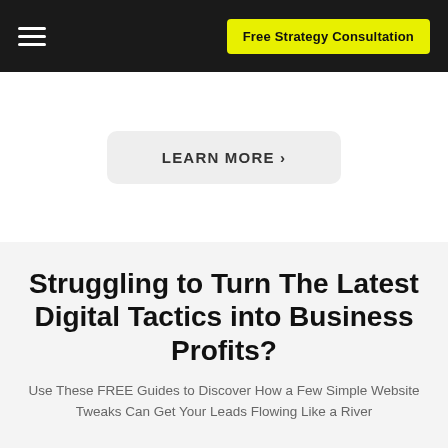Free Strategy Consultation
LEARN MORE >
Struggling to Turn The Latest Digital Tactics into Business Profits?
Use These FREE Guides to Discover How a Few Simple Website Tweaks Can Get Your Leads Flowing Like a River